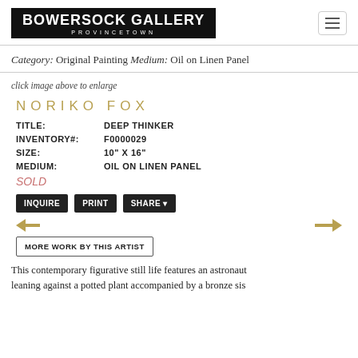BOWERSOCK GALLERY PROVINCETOWN
Category: Original Painting Medium: Oil on Linen Panel
click image above to enlarge
NORIKO FOX
TITLE: DEEP THINKER
INVENTORY#: F0000029
SIZE: 10" X 16"
MEDIUM: OIL ON LINEN PANEL
SOLD
INQUIRE  PRINT  SHARE
MORE WORK BY THIS ARTIST
This contemporary figurative still life features an astronaut leaning against a potted plant accompanied by a bronze sis